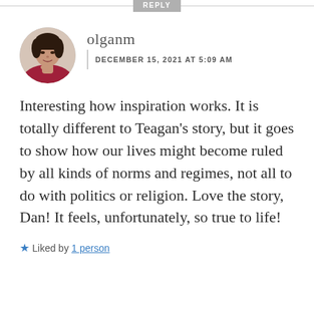REPLY
[Figure (photo): Profile photo of a woman with short dark hair, wearing a red/magenta top, posed thoughtfully with hand near chin, circular avatar crop]
olganm
DECEMBER 15, 2021 AT 5:09 AM
Interesting how inspiration works. It is totally different to Teagan's story, but it goes to show how our lives might become ruled by all kinds of norms and regimes, not all to do with politics or religion. Love the story, Dan! It feels, unfortunately, so true to life!
★ Liked by 1 person